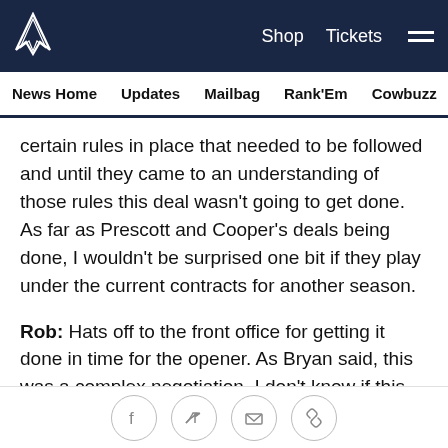Dallas Cowboys website header with logo, Shop, Tickets navigation
News Home  Updates  Mailbag  Rank'Em  Cowbuzz  Past/Pres
certain rules in place that needed to be followed and until they came to an understanding of those rules this deal wasn't going to get done. As far as Prescott and Cooper's deals being done, I wouldn't be surprised one bit if they play under the current contracts for another season.
Rob: Hats off to the front office for getting it done in time for the opener. As Bryan said, this was a complex negotiation. I don't know if this deal expedites anything with Prescott or Cooper because every deal is different and both sides have to get to a number they're comfortable with. Certainly the Cowboys still view both